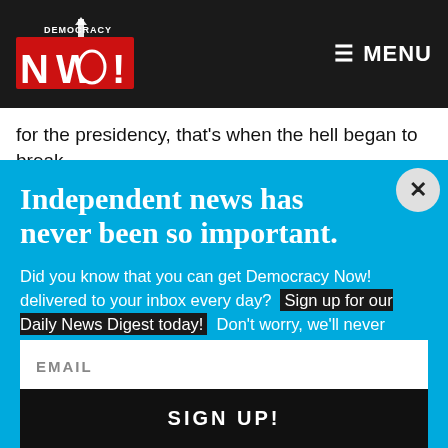Democracy Now! — MENU
for the presidency, that's when the hell began to break
Independent news has never been so important.
Did you know that you can get Democracy Now! delivered to your inbox every day? Sign up for our Daily News Digest today! Don't worry, we'll never share or sell your information.
EMAIL
SIGN UP!